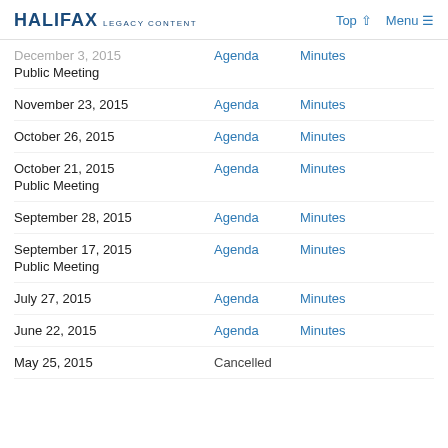HALIFAX LEGACY CONTENT | Top | Menu
December 3, 2015 — Agenda — Minutes
Public Meeting
November 23, 2015 — Agenda — Minutes
October 26, 2015 — Agenda — Minutes
October 21, 2015 — Agenda — Minutes
Public Meeting
September 28, 2015 — Agenda — Minutes
September 17, 2015 — Agenda — Minutes
Public Meeting
July 27, 2015 — Agenda — Minutes
June 22, 2015 — Agenda — Minutes
May 25, 2015 — Cancelled